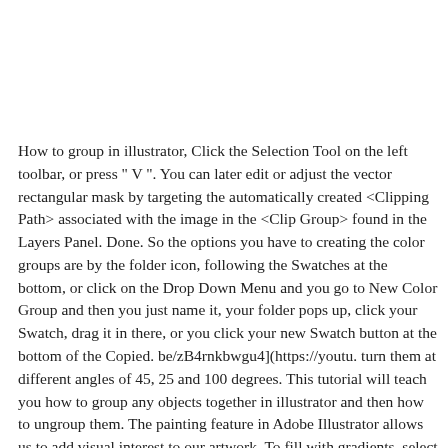How to group in illustrator, Click the Selection Tool on the left toolbar, or press " V ". You can later edit or adjust the vector rectangular mask by targeting the automatically created <Clipping Path> associated with the image in the <Clip Group> found in the Layers Panel. Done. So the options you have to creating the color groups are by the folder icon, following the Swatches at the bottom, or click on the Drop Down Menu and you go to New Color Group and then you just name it, your folder pops up, click your Swatch, drag it in there, or you click your new Swatch button at the bottom of the Copied. be/zB4rnkbwgu4](https://youtu. turn them at different angles of 45, 25 and 100 degrees. This tutorial will teach you how to group any objects together in illustrator and then how to ungroup them. The painting feature in Adobe Illustrator allows us to add visual interest to our artwork. To fill with gradients, select the object first and go to the gradient button. [https://youtu. Visit Website. If you select objects in different layers and then group them, the objects are grouped in the layer of the topmost selected object. #illustrator #illustration #kdlig #clueless #fanart #stylizedillustration #popculture #popart How to